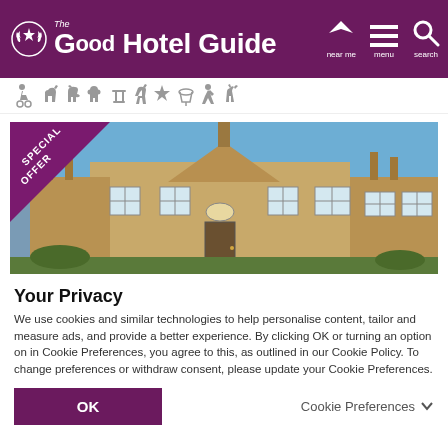The Good Hotel Guide
[Figure (illustration): Row of accessibility and amenity icons: wheelchair, horse riding, dog, monkey/wildlife, chess/games, horse trekking, star/favourite, BBQ/grill, hiking, deer/wildlife]
[Figure (photo): Stone building hotel exterior with blue sky, chimney stacks, white sash windows, and a 'Special Offer' purple triangle badge in the top-left corner]
Your Privacy
We use cookies and similar technologies to help personalise content, tailor and measure ads, and provide a better experience. By clicking OK or turning an option on in Cookie Preferences, you agree to this, as outlined in our Cookie Policy. To change preferences or withdraw consent, please update your Cookie Preferences.
OK
Cookie Preferences